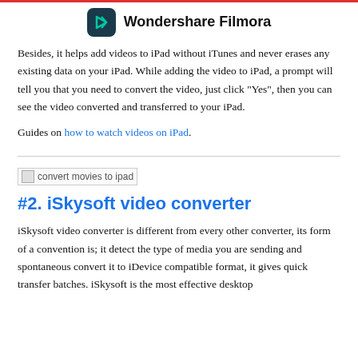Wondershare Filmora
Besides, it helps add videos to iPad without iTunes and never erases any existing data on your iPad. While adding the video to iPad, a prompt will tell you that you need to convert the video, just click "Yes", then you can see the video converted and transferred to your iPad.
Guides on how to watch videos on iPad.
[Figure (other): Broken image placeholder labeled 'convert movies to ipad']
#2. iSkysoft video converter
iSkysoft video converter is different from every other converter, its form of a convention is; it detect the type of media you are sending and spontaneous convert it to iDevice compatible format, it gives quick transfer batches. iSkysoft is the most effective desktop